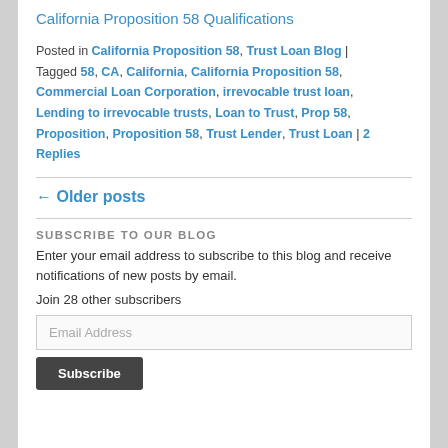California Proposition 58 Qualifications
Posted in California Proposition 58, Trust Loan Blog | Tagged 58, CA, California, California Proposition 58, Commercial Loan Corporation, irrevocable trust loan, Lending to irrevocable trusts, Loan to Trust, Prop 58, Proposition, Proposition 58, Trust Lender, Trust Loan | 2 Replies
← Older posts
SUBSCRIBE TO OUR BLOG
Enter your email address to subscribe to this blog and receive notifications of new posts by email.
Join 28 other subscribers
Email Address